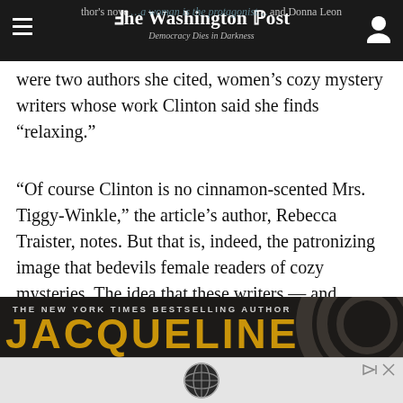The Washington Post — Democracy Dies in Darkness
were two authors she cited, women's cozy mystery writers whose work Clinton said she finds “relaxing.”
“Of course Clinton is no cinnamon-scented Mrs. Tiggy-Winkle,” the article’s author, Rebecca Traister, notes. But that is, indeed, the patronizing image that bedevils female readers of cozy mysteries. The idea that these writers — and “women’s mysteries” in general — are “easier to read” sounds a tad trivializing.
[Figure (photo): Advertisement banner for a New York Times bestselling author named Jacqueline, showing gold lettering on dark background with decorative circular pattern, with an ad overlay at the bottom containing a globe logo.]